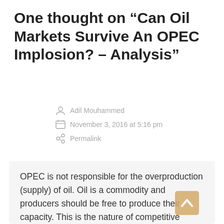One thought on “Can Oil Markets Survive An OPEC Implosion? – Analysis”
Adil Mouhammed
November 3, 2016 at 5:16 pm
Permalink
OPEC is not responsible for the overproduction (supply) of oil. Oil is a commodity and producers should be free to produce their capacity. This is the nature of competitive market. Any arrangement to cut oil production intentionally for raising prices and making more profits is sabotage. OPEC should not be pressured by any imperialist power to cut oil production because other non-OPEC producers will